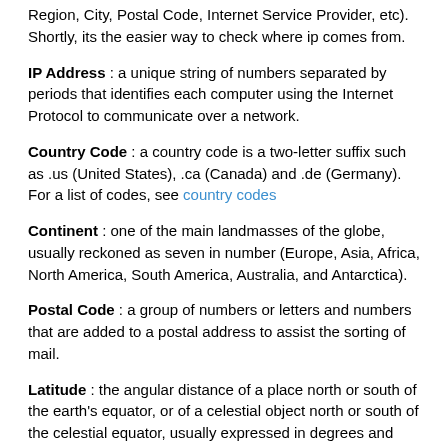Region, City, Postal Code, Internet Service Provider, etc). Shortly, its the easier way to check where ip comes from.
IP Address : a unique string of numbers separated by periods that identifies each computer using the Internet Protocol to communicate over a network.
Country Code : a country code is a two-letter suffix such as .us (United States), .ca (Canada) and .de (Germany). For a list of codes, see country codes
Continent : one of the main landmasses of the globe, usually reckoned as seven in number (Europe, Asia, Africa, North America, South America, Australia, and Antarctica).
Postal Code : a group of numbers or letters and numbers that are added to a postal address to assist the sorting of mail.
Latitude : the angular distance of a place north or south of the earth's equator, or of a celestial object north or south of the celestial equator, usually expressed in degrees and minutes.
Longitude : the angular distance of a place east or west of the